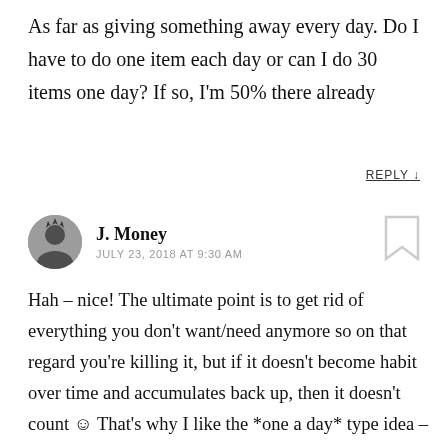As far as giving something away every day. Do I have to do one item each day or can I do 30 items one day? If so, I'm 50% there already
REPLY ↓
J. Money
JULY 23, 2018 AT 9:30 AM
Hah – nice! The ultimate point is to get rid of everything you don't want/need anymore so on that regard you're killing it, but if it doesn't become habit over time and accumulates back up, then it doesn't count ☺ That's why I like the *one a day* type idea – in theory it should become a *habit* over